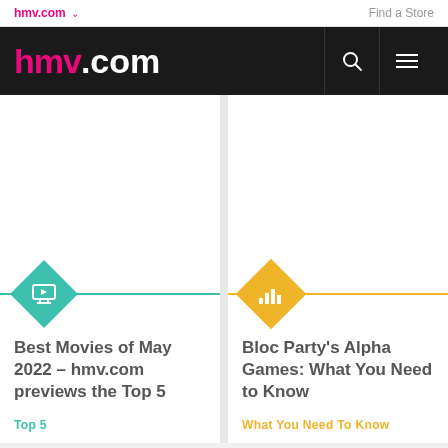hmv.com ▾  Find a Store
[Figure (logo): hmv.com logo in black navigation bar with search and menu icons]
[Figure (illustration): Teal diamond badge with TV/screen icon and horizontal teal line]
Best Movies of May 2022 – hmv.com previews the Top 5
Top 5
[Figure (illustration): Gold/yellow diamond badge with music bars icon and horizontal gold line]
Bloc Party's Alpha Games: What You Need to Know
What You Need To Know